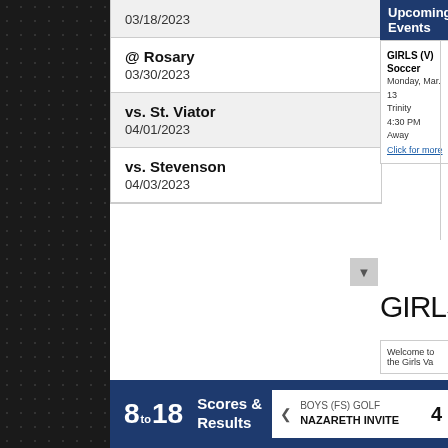03/18/2023
@ Rosary
03/30/2023
vs. St. Viator
04/01/2023
vs. Stevenson
04/03/2023
Upcoming Events
GIRLS (V)
Soccer
Monday, Mar. 13
Trinity
4:30 PM
Away
Click for more
GIRLS Soc
Welcome to the Girls Va
8to18  Scores & Results
BOYS (FS) GOLF
NAZARETH INVITE